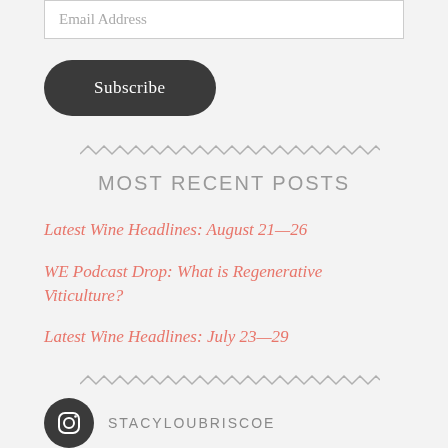Email Address
Subscribe
[Figure (other): Zigzag decorative divider line]
MOST RECENT POSTS
Latest Wine Headlines: August 21—26
WE Podcast Drop: What is Regenerative Viticulture?
Latest Wine Headlines: July 23—29
[Figure (other): Zigzag decorative divider line]
STACYLOUBRISCOE